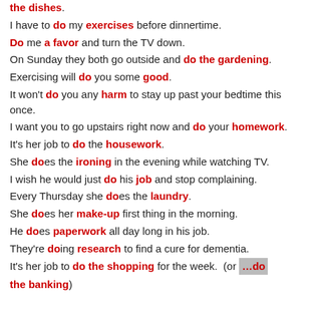the dishes. I have to do my exercises before dinnertime. Do me a favor and turn the TV down. On Sunday they both go outside and do the gardening. Exercising will do you some good. It won't do you any harm to stay up past your bedtime this once. I want you to go upstairs right now and do your homework. It's her job to do the housework. She does the ironing in the evening while watching TV. I wish he would just do his job and stop complaining. Every Thursday she does the laundry. She does her make-up first thing in the morning. He does paperwork all day long in his job. They're doing research to find a cure for dementia. It's her job to do the shopping for the week. (or ...do the banking)